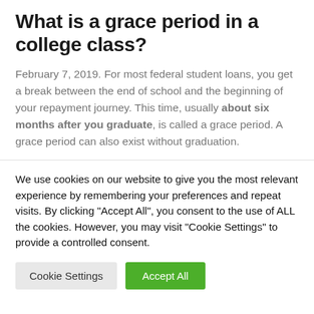What is a grace period in a college class?
February 7, 2019. For most federal student loans, you get a break between the end of school and the beginning of your repayment journey. This time, usually about six months after you graduate, is called a grace period. A grace period can also exist without graduation.
We use cookies on our website to give you the most relevant experience by remembering your preferences and repeat visits. By clicking “Accept All”, you consent to the use of ALL the cookies. However, you may visit “Cookie Settings” to provide a controlled consent.